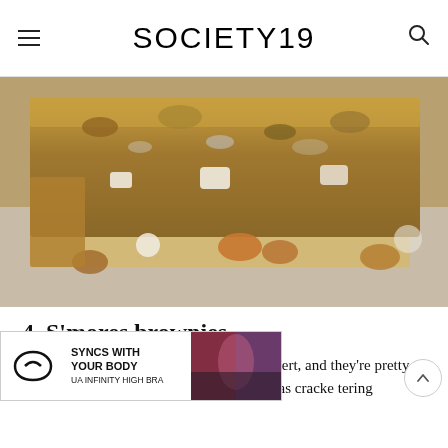SOCIETY19
[Figure (photo): Close-up photo of s'mores brownies on parchment paper with nuts and marshmallows scattered around on a marble surface]
4. S'mores brownies
S'mores are the quintessential summer dessert, and they're pretty freaking amazing just as they are. But, a toas… cracke… …tering
[Figure (screenshot): Advertisement banner: Under Armour 'SYNCS WITH YOUR BODY UA INFINITY HIGH BRA' with logo and image of woman working out]